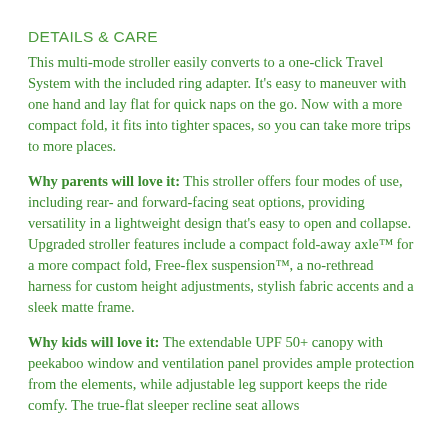DETAILS & CARE
This multi-mode stroller easily converts to a one-click Travel System with the included ring adapter. It's easy to maneuver with one hand and lay flat for quick naps on the go. Now with a more compact fold, it fits into tighter spaces, so you can take more trips to more places.
Why parents will love it: This stroller offers four modes of use, including rear- and forward-facing seat options, providing versatility in a lightweight design that's easy to open and collapse. Upgraded stroller features include a compact fold-away axle™ for a more compact fold, Free-flex suspension™, a no-rethread harness for custom height adjustments, stylish fabric accents and a sleek matte frame.
Why kids will love it: The extendable UPF 50+ canopy with peekaboo window and ventilation panel provides ample protection from the elements, while adjustable leg support keeps the ride comfy. The true-flat sleeper recline seat allows babies to rest off the ground the way only babies can. But...